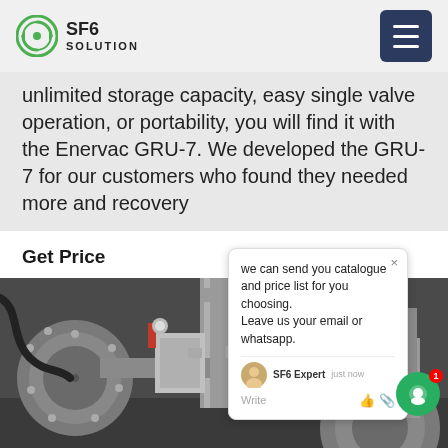SF6 SOLUTION
unlimited storage capacity, easy single valve operation, or portability, you will find it with the Enervac GRU-7. We developed the GRU-7 for our customers who found they needed more and recovery
Get Price
[Figure (photo): Industrial SF6 gas recovery unit equipment showing pipes, flanges, valves, and mechanical components in a grey/white industrial setting]
we can send you catalogue and price list for you choosing. Leave us your email or whatsapp.